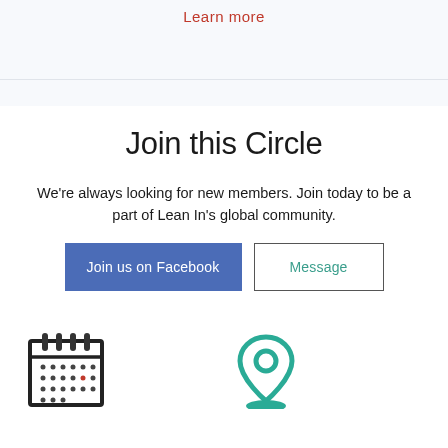Learn more
Join this Circle
We're always looking for new members. Join today to be a part of Lean In's global community.
Join us on Facebook
Message
[Figure (illustration): Calendar icon with grid dots and a small red date marker]
[Figure (illustration): Teal map pin / location marker icon on a flat base]